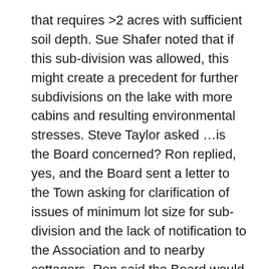that requires >2 acres with sufficient soil depth. Sue Shafer noted that if this sub-division was allowed, this might create a precedent for further subdivisions on the lake with more cabins and resulting environmental stresses. Steve Taylor asked …is the Board concerned? Ron replied, yes, and the Board sent a letter to the Town asking for clarification of issues of minimum lot size for sub-division and the lack of notification to the Association and to nearby cottagers. Ron said the Board would ask the Town to notify the Association in the future; then the Association can notify its members, particularly those affected by the sub- division. Both Dave Hall and Steve Taylor, nearby cottagers, objected to the lack of notification. Ron reiterated that the Board would follow up on this issue.
Election of Board: Ron noted that 3 Board members are retiring – Laure Olsen, Dave Hall and himself, so 3 replacements are necessary. 2 of which must be